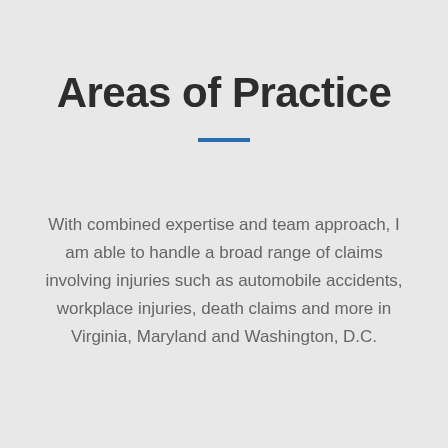Areas of Practice
With combined expertise and team approach, I am able to handle a broad range of claims involving injuries such as automobile accidents, workplace injuries, death claims and more in Virginia, Maryland and Washington, D.C.